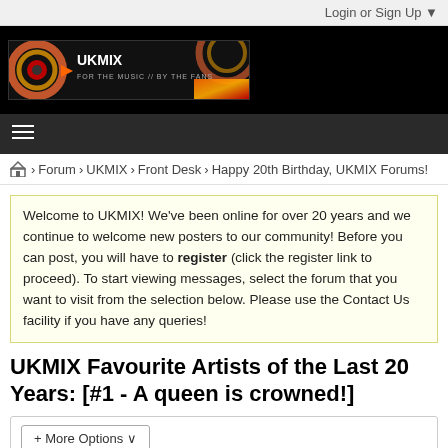Login or Sign Up ▼
[Figure (logo): UKMIX logo banner - black background with colorful circular design and text 'UKMIX FOR THE MUSIC // BY THE FANS']
≡
🏠 › Forum › UKMIX › Front Desk › Happy 20th Birthday, UKMIX Forums!
Welcome to UKMIX! We've been online for over 20 years and we continue to welcome new posters to our community! Before you can post, you will have to register (click the register link to proceed). To start viewing messages, select the forum that you want to visit from the selection below. Please use the Contact Us facility if you have any queries!
UKMIX Favourite Artists of the Last 20 Years: [#1 - A queen is crowned!]
+ More Options ✓